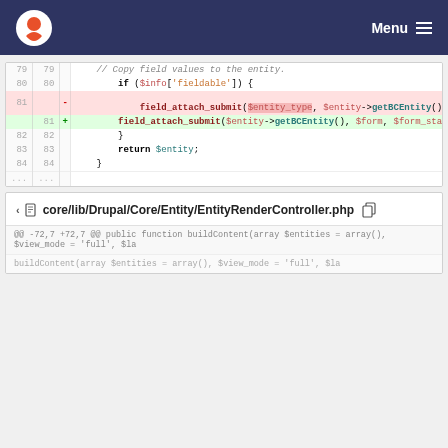Menu
[Figure (screenshot): Code diff view showing lines 79-84 of a PHP file with a deletion and addition of field_attach_submit function call]
core/lib/Drupal/Core/Entity/EntityRenderController.php
@@ -72,7 +72,7 @@ public function buildContent(array $entities = array(), $view_mode = 'full', $la